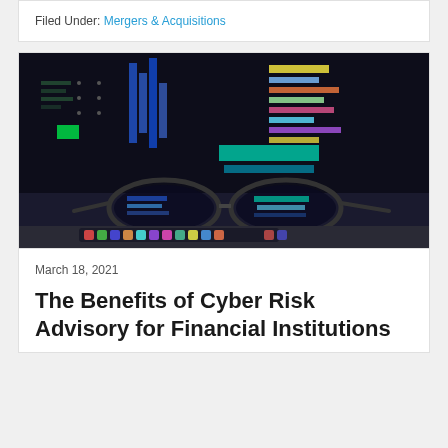Filed Under: Mergers & Acquisitions
[Figure (photo): Glasses resting in front of a dark computer monitor displaying colorful code and data dashboards, reflecting a technology-heavy cybersecurity or data analytics environment.]
March 18, 2021
The Benefits of Cyber Risk Advisory for Financial Institutions